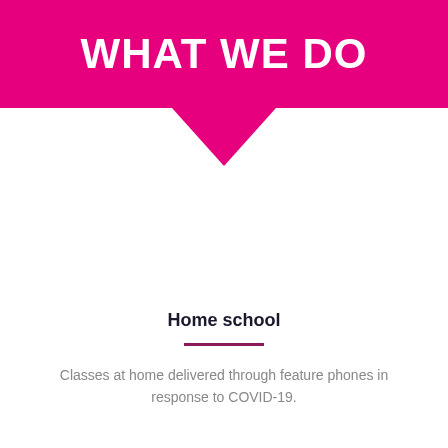WHAT WE DO
Home school
Classes at home delivered through feature phones in response to COVID-19.